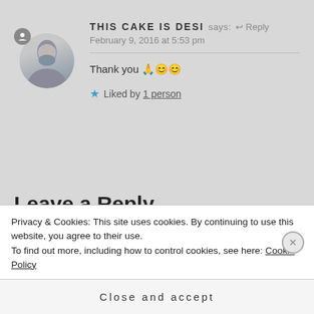THIS CAKE IS DESI says: ↩ Reply
February 9, 2016 at 5:53 pm
Thank you 🙏😊😊
★ Liked by 1 person
Leave a Reply
Privacy & Cookies: This site uses cookies. By continuing to use this website, you agree to their use.
To find out more, including how to control cookies, see here: Cookie Policy
Close and accept